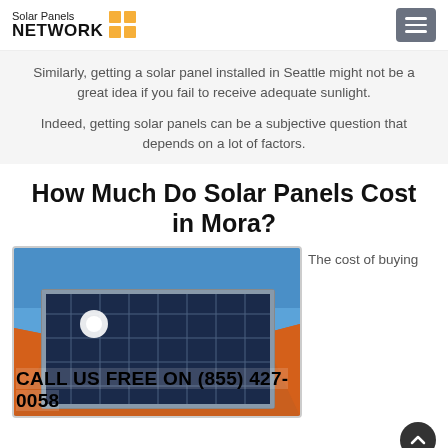Solar Panels NETWORK
Similarly, getting a solar panel installed in Seattle might not be a great idea if you fail to receive adequate sunlight.
Indeed, getting solar panels can be a subjective question that depends on a lot of factors.
How Much Do Solar Panels Cost in Mora?
[Figure (photo): Solar panels installed on an orange tiled roof against a blue sky]
The cost of buying
CALL US FREE ON (855) 427-0058
and when combined installing it will soon from content to start initially th